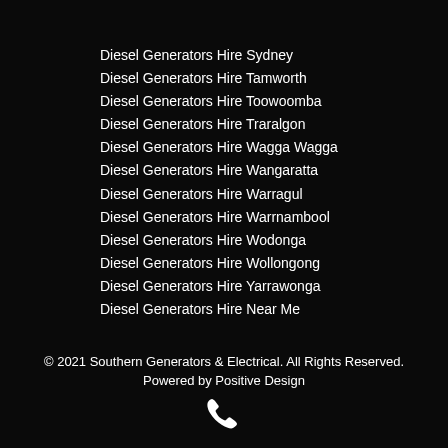Diesel Generators Hire Sydney
Diesel Generators Hire Tamworth
Diesel Generators Hire Toowoomba
Diesel Generators Hire Traralgon
Diesel Generators Hire Wagga Wagga
Diesel Generators Hire Wangaratta
Diesel Generators Hire Warragul
Diesel Generators Hire Warrnambool
Diesel Generators Hire Wodonga
Diesel Generators Hire Wollongong
Diesel Generators Hire Yarrawonga
Diesel Generators Hire Near Me
© 2021 Southern Generators & Electrical. All Rights Reserved.
Powered by Positive Design